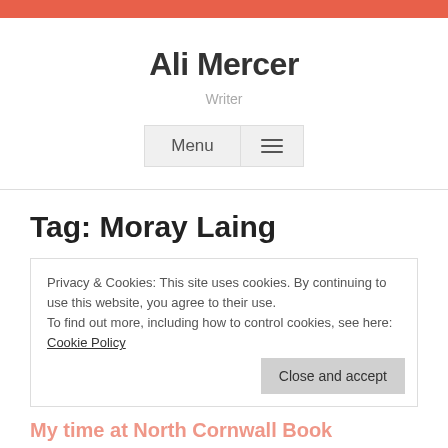Ali Mercer
Writer
Tag: Moray Laing
Privacy & Cookies: This site uses cookies. By continuing to use this website, you agree to their use.
To find out more, including how to control cookies, see here: Cookie Policy
Close and accept
My time at North Cornwall Book Festival: a feast of books, music,